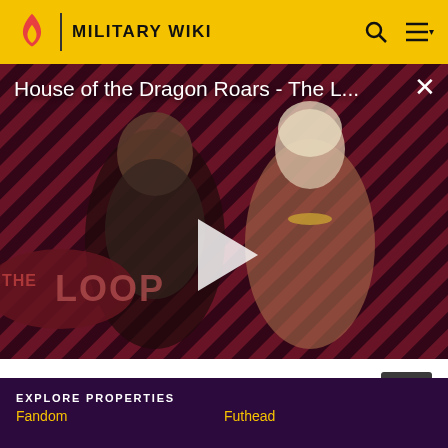MILITARY WIKI
[Figure (screenshot): Video thumbnail for 'House of the Dragon Roars - The Loop' showing two characters from House of the Dragon TV show against a diagonal pink and dark stripe background. A play button is visible in the center. THE LOOP logo is shown in the bottom left.]
House of the Dragon Roars - The L... ×
House of the Dragon Roars - The Loop
01:43
[Figure (logo): Fandom logo in white and pink on dark purple background]
EXPLORE PROPERTIES
Fandom
Futhead